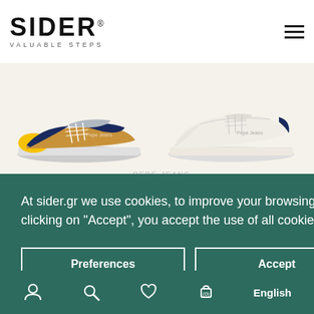SIDER® VALUABLE STEPS
[Figure (photo): Pepe Jeans colorful sneaker (navy/tan/yellow) on beige background]
[Figure (photo): Pepe Jeans white sneaker on beige background]
PEPE JEANS
PEPE JEANS
00000...
80€
At sider.gr we use cookies, to improve your browsing experience. By clicking on "Accept", you accept the use of all cookies.
Preferences
Accept
English (0)